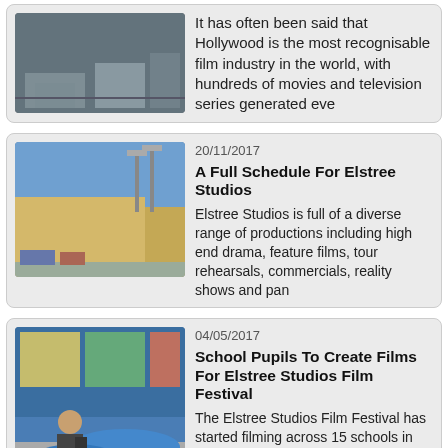[Figure (photo): Aerial or street view photo, partially visible at top of page]
It has often been said that Hollywood is the most recognisable film industry in the world, with hundreds of movies and television series generated eve
[Figure (photo): Photo of Elstree Studios building exterior]
20/11/2017
A Full Schedule For Elstree Studios
Elstree Studios is full of a diverse range of productions including high end drama, feature films, tour rehearsals, commercials, reality shows and pan
[Figure (photo): Photo of school children filming in a classroom]
04/05/2017
School Pupils To Create Films For Elstree Studios Film Festival
The Elstree Studios Film Festival has started filming across 15 schools in Hertsmere. As part of Elstree Studio's 90th anniversary, the studio teamed
[Figure (illustration): Illustrated logo or artwork for Script To Screen event]
09/03/2017
Elstree Launches 'Script To Screen'